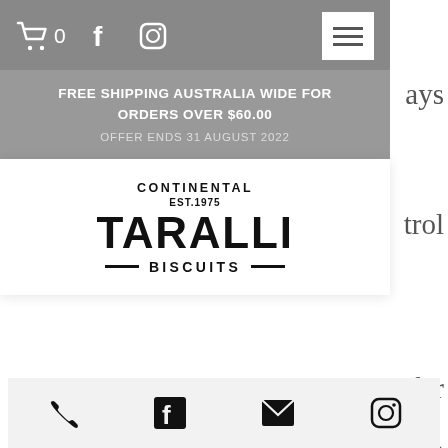[Figure (screenshot): Website navigation bar with shopping cart (0), Facebook icon, Instagram icon, and hamburger menu button on grey background]
FREE SHIPPING AUSTRALIA WIDE FOR ORDERS OVER $60.00
OFFER ENDS 31 AUGUST 2022
[Figure (logo): Continental Est. 1975 Taralli Biscuits logo]
result of delayed delivery.
During peak times, we appreciate your patience as we work through large volumes of orders.
However, if an order has taken longer than you'd expect, please call us immediately on (08) 8332 6305 and we will track the order for you and let you know of its
[Figure (screenshot): Bottom navigation bar with phone, Facebook, email, and Instagram icons]